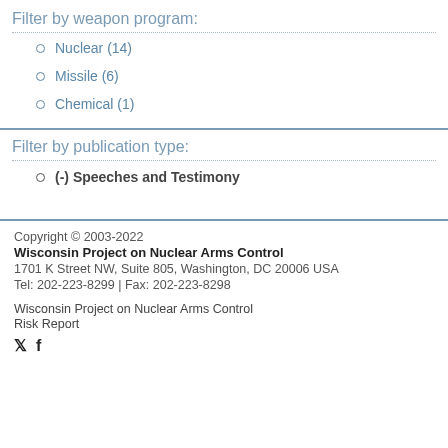Filter by weapon program:
Nuclear (14)
Missile (6)
Chemical (1)
Filter by publication type:
(-) Speeches and Testimony
Copyright © 2003-2022
Wisconsin Project on Nuclear Arms Control
1701 K Street NW, Suite 805, Washington, DC 20006 USA
Tel: 202-223-8299 | Fax: 202-223-8298

Wisconsin Project on Nuclear Arms Control
Risk Report